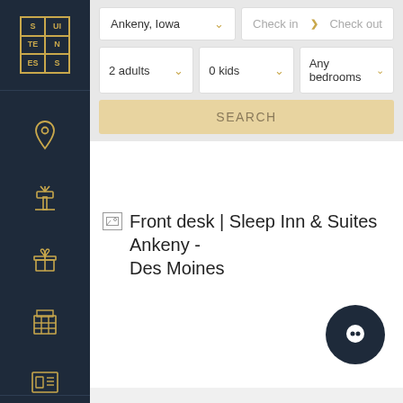[Figure (logo): Suiteness logo with gold border grid showing SUI/TEN/ESS text on dark navy sidebar]
[Figure (screenshot): Hotel search UI with location input Ankeny Iowa, check in/check out date fields, 2 adults/0 kids/Any bedrooms dropdowns, and SEARCH button]
[Figure (photo): Broken image placeholder for Front desk Sleep Inn and Suites Ankeny Des Moines hotel photo]
Front desk | Sleep Inn & Suites Ankeny - Des Moines